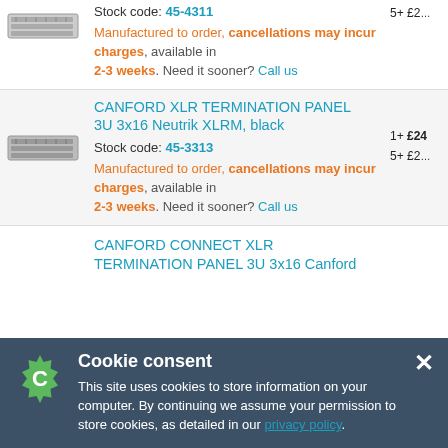Stock code: 45-4311
Manufactured to order, cancellations may incur charges, available in 2-3 weeks. Need it sooner? Call us
CANFORD XLR TERMINATION PANEL 3U 3x16 Neutrik XLRM, black
Stock code: 45-3313
Manufactured to order, cancellations may incur charges, available in 2-3 weeks. Need it sooner? Call us
CANFORD CONNECT XLR TERMINATION PANEL 3U 3x16 Canford
Cookie consent
This site uses cookies to store information on your computer. By continuing we assume your permission to store cookies, as detailed in our privacy policy.